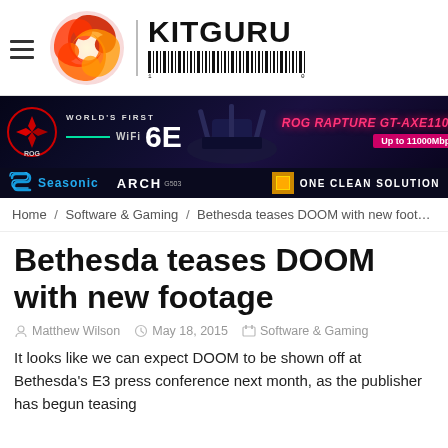[Figure (logo): KitGuru website logo with flame swirl icon, vertical divider, KitGuru text and barcode]
[Figure (screenshot): ASUS ROG Rapture GT-AXE11000 WiFi 6E advertisement banner, dark blue/purple background]
[Figure (screenshot): Seasonic ARCH advertisement banner, dark background with ONE CLEAN SOLUTION text]
Home / Software & Gaming / Bethesda teases DOOM with new footage
Bethesda teases DOOM with new footage
Matthew Wilson   May 18, 2015   Software & Gaming
It looks like we can expect DOOM to be shown off at Bethesda's E3 press conference next month, as the publisher has begun teasing